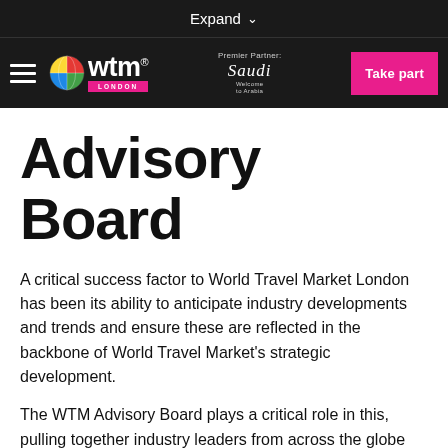Expand
[Figure (logo): WTM London navigation bar with hamburger menu, WTM globe logo, Premier Partner Saudi Tourism logo, and Take part button]
Advisory Board
A critical success factor to World Travel Market London has been its ability to anticipate industry developments and trends and ensure these are reflected in the backbone of World Travel Market's strategic development.
The WTM Advisory Board plays a critical role in this, pulling together industry leaders from across the globe that reflect regional interests and those of our key global stakeholders